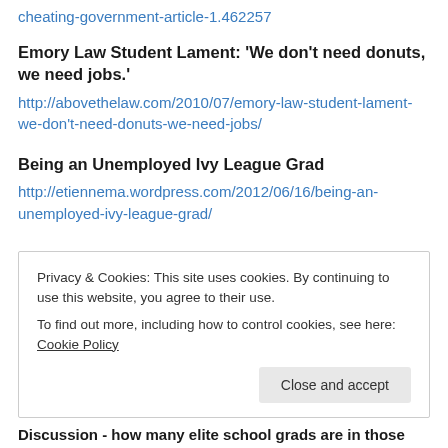cheating-government-article-1.462257
Emory Law Student Lament: ‘We don’t need donuts, we need jobs.’
http://abovethelaw.com/2010/07/emory-law-student-lament-we-don’t-need-donuts-we-need-jobs/
Being an Unemployed Ivy League Grad
http://etiennema.wordpress.com/2012/06/16/being-an-unemployed-ivy-league-grad/
Privacy & Cookies: This site uses cookies. By continuing to use this website, you agree to their use.
To find out more, including how to control cookies, see here: Cookie Policy
Close and accept
Discussion - how many elite school grads are in those